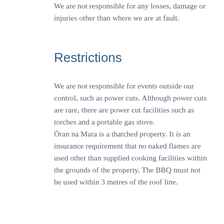We are not responsible for any losses, damage or injuries other than where we are at fault.
Restrictions
We are not responsible for events outside our control, such as power cuts. Although power cuts are rare, there are power cut facilities such as torches and a portable gas stove. Òran na Mara is a thatched property. It is an insurance requirement that no naked flames are used other than supplied cooking facilities within the grounds of the property. The BBQ must not be used within 3 metres of the roof line.